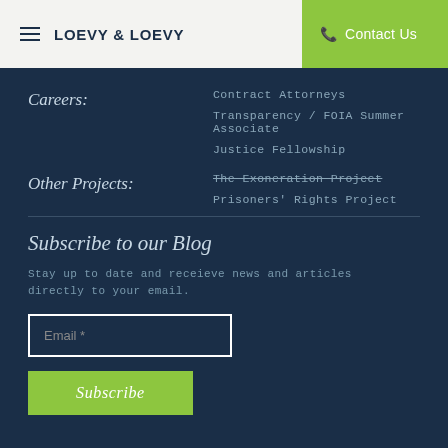LOEVY & LOEVY | Contact Us
Careers:
Contract Attorneys
Transparency / FOIA Summer Associate
Justice Fellowship
Other Projects:
The Exoneration Project
Prisoners' Rights Project
Subscribe to our Blog
Stay up to date and receieve news and articles directly to your email.